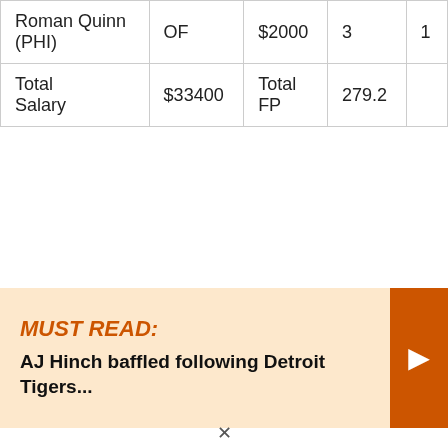| Roman Quinn (PHI) | OF | $2000 | 3 | 1 |
| Total Salary | $33400 | Total FP | 279.2 |  |
MUST READ: AJ Hinch baffled following Detroit Tigers...